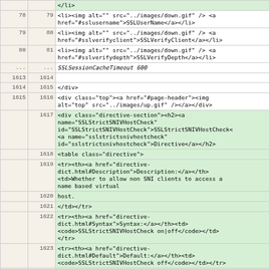| col1 | col2 | code |
| --- | --- | --- |
|  |  | </li> |
| 78 | 79 | <li><img alt="" src="../images/down.gif" /> <a href="#sslusername">SSLUserName</a></li> |
| 79 | 80 | <li><img alt="" src="../images/down.gif" /> <a href="#sslverifyclient">SSLVerifyClient</a></li> |
| 80 | 81 | <li><img alt="" src="../images/down.gif" /> <a href="#sslverifydepth">SSLVerifyDepth</a></li> |
| ... | ... | SSLSessionCacheTimeout 600 |
| 1613 | 1614 |  |
| 1614 | 1615 | </div> |
| 1615 | 1616 | <div class="top"><a href="#page-header"><img alt="top" src="../images/up.gif" /></a></div> |
|  | 1617 | <div class="directive-section"><h2><a name="SSLStrictSNIVHostCheck" id="SSLStrictSNIVHostCheck">SSLStrictSNIVHostCheck<
a name="sslstrictsnivhostcheck" id="sslstrictsnivhostcheck">Directive</a></h2> |
|  | 1618 | <table class="directive"> |
|  | 1619 | <tr><th><a href="directive-dict.html#Description">Description:</a></th><td>Whether to allow non SNI clients to access a name based virtual |
|  | 1620 | host. |
|  | 1621 | </td></tr> |
|  | 1622 | <tr><th><a href="directive-dict.html#Syntax">Syntax:</a></th><td><code>SSLStrictSNIVHostCheck on|off</code></td></tr> |
|  | 1623 | <tr><th><a href="directive-dict.html#Default">Default:</a></th><td><code>SSLStrictSNIVHostCheck off</code></td></tr> |
|  | 1624 | <tr><th><a href="directive-dict.html#Context">Context:</a></th><td>server config, virtual host</td></tr> |